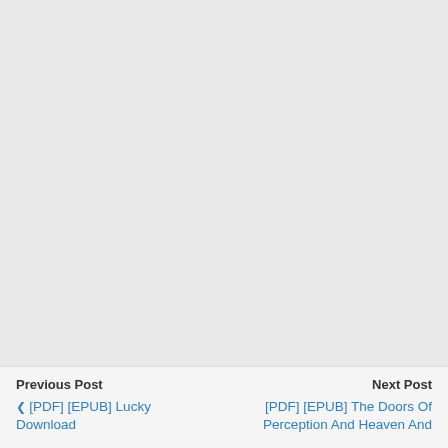Previous Post
‹ [PDF] [EPUB] Lucky Download

Next Post
[PDF] [EPUB] The Doors Of Perception And Heaven And